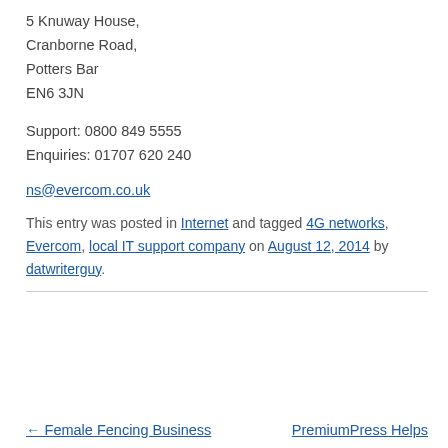5 Knuway House,
Cranborne Road,
Potters Bar
EN6 3JN
Support: 0800 849 5555
Enquiries: 01707 620 240
ns@evercom.co.uk
This entry was posted in Internet and tagged 4G networks, Evercom, local IT support company on August 12, 2014 by datwriterguy.
← Female Fencing Business
PremiumPress Helps